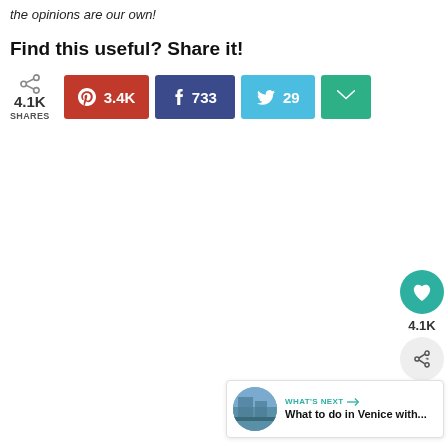the opinions are our own!
Find this useful? Share it!
4.1K SHARES  |  Pinterest 3.4K  |  Facebook 733  |  Twitter 29  |  Email
[Figure (infographic): Floating side panel with heart/like button showing 4.1K count and share icon]
[Figure (infographic): What's Next panel with circular thumbnail image and text: WHAT'S NEXT → What to do in Venice with...]